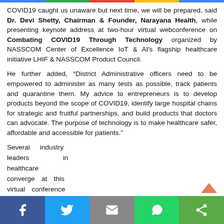COVID19 caught us unaware but next time, we will be prepared, said Dr. Devi Shetty, Chairman & Founder, Narayana Health, while presenting keynote address at two-hour virtual webconference on Combating COVID19 Through Technology organized by NASSCOM Center of Excellence IoT & AI's flagship healthcare initiative LHIF & NASSCOM Product Council.
He further added, “District Administrative officers need to be empowered to administer as many tests as possible, track patients and quarantine them. My advice to entrepreneurs is to develop products beyond the scope of COVID19, identify large hospital chains for strategic and fruitful partnerships, and build products that doctors can advocate. The purpose of technology is to make healthcare safer, affordable and accessible for patients.”
Several industry leaders in healthcare converge at this virtual conference
Facebook | Twitter | Email | WhatsApp | Share